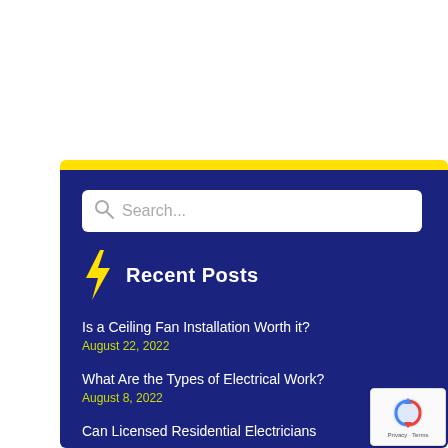[Figure (screenshot): Search input box with magnifying glass icon and placeholder text 'Search...' on a white rounded background]
Recent Posts
Is a Ceiling Fan Installation Worth it?
August 22, 2022
What Are the Types of Electrical Work?
August 8, 2022
Can Licensed Residential Electricians...